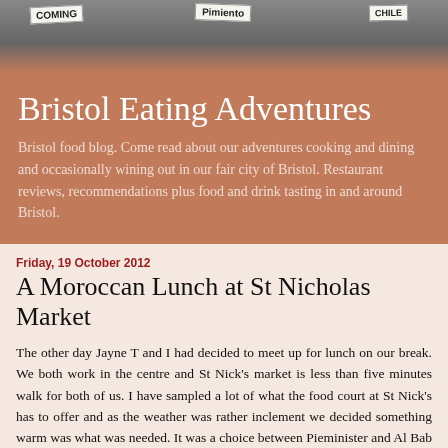[Figure (photo): Photo of market signs including 'COMING', 'Pimiento', and another partially visible sign, with dark/grey background]
Bristol Eating Adventures
Bristol food blog. Come read about our adventures cooking and dining and occasionally wining out in our fair city of Bristol. Restaurant reviews, recommendations plus food and drink tasting in and around Bristol.
Friday, 19 October 2012
A Moroccan Lunch at St Nicholas Market
The other day Jayne T and I had decided to meet up for lunch on our break. We both work in the centre and St Nick's market is less than five minutes walk for both of us. I have sampled a lot of what the food court at St Nick's has to offer and as the weather was rather inclement we decided something warm was what was needed. It was a choice between Pieminister and Al Bab Mansour.